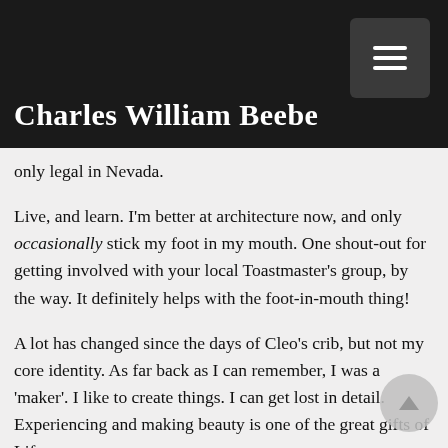Charles William Beebe
only legal in Nevada.
Live, and learn. I'm better at architecture now, and only occasionally stick my foot in my mouth. One shout-out for getting involved with your local Toastmaster's group, by the way. It definitely helps with the foot-in-mouth thing!
A lot has changed since the days of Cleo's crib, but not my core identity. As far back as I can remember, I was a 'maker'. I like to create things. I can get lost in detail. Experiencing and making beauty is one of the great gifts of Life.